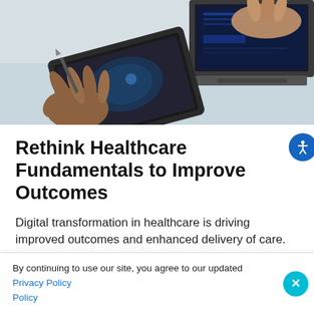[Figure (photo): Photo of person using a stylus on a tablet, with a laptop visible on a desk in background — healthcare technology setting]
Rethink Healthcare Fundamentals to Improve Outcomes
Digital transformation in healthcare is driving improved outcomes and enhanced delivery of care. However, challenges around security, interoperability, compliance and infrastructure management present persistent and costly hurdles for healthcare
By continuing to use our site, you agree to our updated Privacy Policy